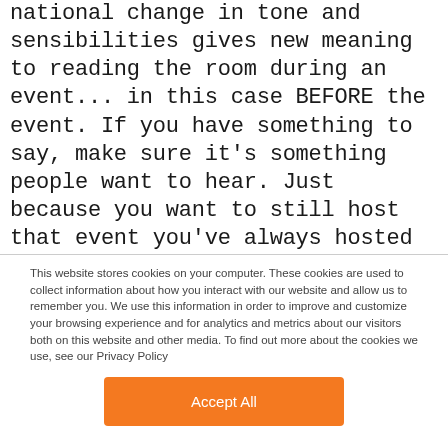national change in tone and sensibilities gives new meaning to reading the room during an event... in this case BEFORE the event. If you have something to say, make sure it's something people want to hear. Just because you want to still host that event you've always hosted or had planned to host for the first time doesn't mean you still should.
This website stores cookies on your computer. These cookies are used to collect information about how you interact with our website and allow us to remember you. We use this information in order to improve and customize your browsing experience and for analytics and metrics about our visitors both on this website and other media. To find out more about the cookies we use, see our Privacy Policy
Accept All